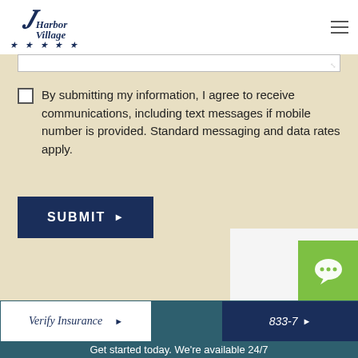[Figure (logo): Harbor Village five-star logo with stylized H and script text]
By submitting my information, I agree to receive communications, including text messages if mobile number is provided. Standard messaging and data rates apply.
SUBMIT ▶
Verify Insurance ▶
833-7... ▶
Get started today. We're available 24/7